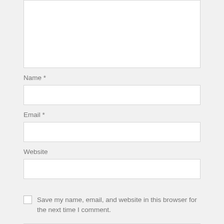[Figure (screenshot): Top portion of a comment form showing a large empty textarea input field (comment area, cropped at top)]
Name *
[Figure (screenshot): Name input text field (empty)]
Email *
[Figure (screenshot): Email input text field (empty)]
Website
[Figure (screenshot): Website input text field (empty)]
Save my name, email, and website in this browser for the next time I comment.